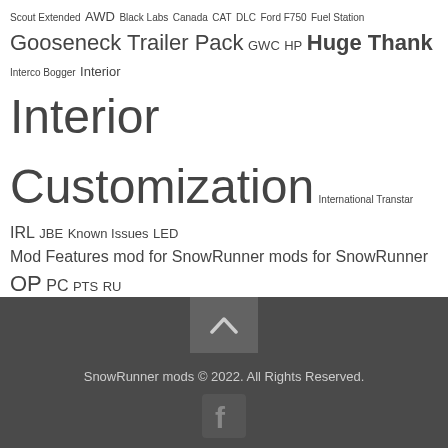Scout Extended AWD Black Labs Canada CAT DLC Ford F750 Fuel Station Gooseneck Trailer Pack GWC HP Huge Thank Interco Bogger Interior Interior Customization International Transtar IRL JBE Known Issues LED Mod Features mod for SnowRunner mods for SnowRunner OP PC PTS RU SnowRunner SnowRunner map SnowRunner maps SnowRunner mod SnowRunner mods SnowRunner mods PC SnowRunner Release Date Snowrunner Truck Snowrunner Truck mod SnowRunner Truck mods Snowrunner Trucks Snowrunner Trucks mods SR SUV United States US Winch Stock Scout
SnowRunner mods © 2022. All Rights Reserved.